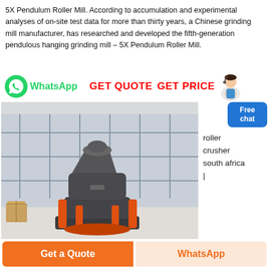5X Pendulum Roller Mill. According to accumulation and experimental analyses of on-site test data for more than thirty years, a Chinese grinding mill manufacturer, has researched and developed the fifth-generation pendulous hanging grinding mill – 5X Pendulum Roller Mill.
[Figure (infographic): WhatsApp contact button with green phone icon and text 'WhatsApp', followed by red bold text 'GET QUOTE  GET PRICE' and a support agent figure icon on the right]
[Figure (photo): Industrial cone/pendulum roller mill machine in a large factory/warehouse setting, machine is dark grey with orange hydraulic cylinders at base]
roller crusher south africa |
[Figure (infographic): Blue rounded badge with white text 'Free chat']
Get a Quote
WhatsApp